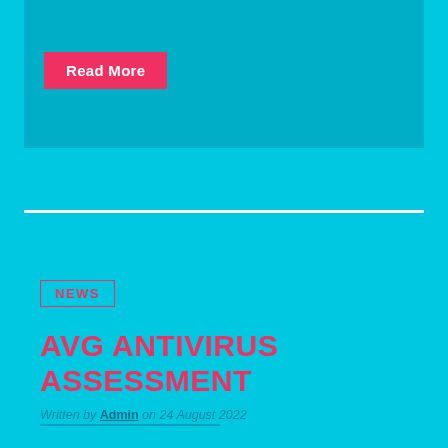[Figure (other): Teal/cyan banner card at the top of the page with a Read More button]
Read More
NEWS
AVG ANTIVIRUS ASSESSMENT
Written by Admin on 24 August 2022